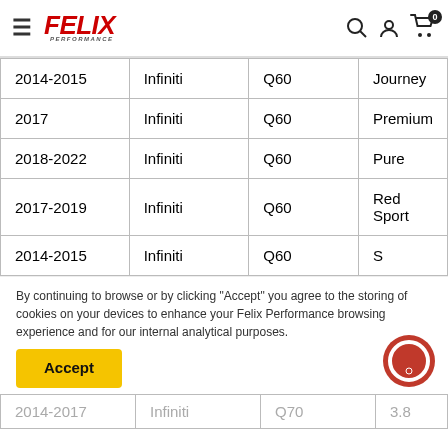Felix Performance — navigation header with hamburger menu, logo, search, account, and cart icons
| 2014-2015 | Infiniti | Q60 | Journey |
| 2017 | Infiniti | Q60 | Premium |
| 2018-2022 | Infiniti | Q60 | Pure |
| 2017-2019 | Infiniti | Q60 | Red Sport |
| 2014-2015 | Infiniti | Q60 | S |
By continuing to browse or by clicking "Accept" you agree to the storing of cookies on your devices to enhance your Felix Performance browsing experience and for our internal analytical purposes.
Accept
| 2014-2017 | Infiniti | Q70 | 3.8 |